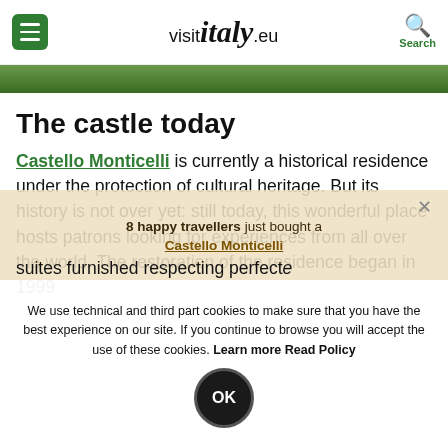visitItaly.eu — navigation bar with hamburger menu and search
[Figure (photo): Hero image strip showing green foliage and outdoor scenery]
The castle today
Castello Monticelli is currently a historical residence under the protection of cultural heritage. But its history is not over yet: still today, this wonderful place hosts patrons looking for experiences from all over the world. The restoration of the residence began in 1999
8 happy travellers just bought a ... suites furnished respecting perfect...
We use technical and third part cookies to make sure that you have the best experience on our site. If you continue to browse you will accept the use of these cookies. Learn more Read Policy
OK